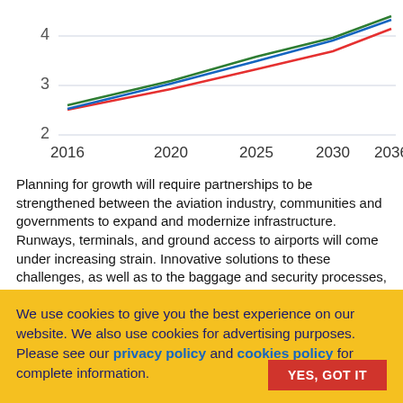[Figure (line-chart): Aviation passenger growth forecast]
Planning for growth will require partnerships to be strengthened between the aviation industry, communities and governments to expand and modernize infrastructure. Runways, terminals, and ground access to airports will come under increasing strain. Innovative solutions to these challenges, as well as to the baggage and security processes, cargo handling, and other activities, will also be needed. And air traffic management needs urgent reform to cut delays, costs and emissions.
We use cookies to give you the best experience on our website. We also use cookies for advertising purposes. Please see our privacy policy and cookies policy for complete information.